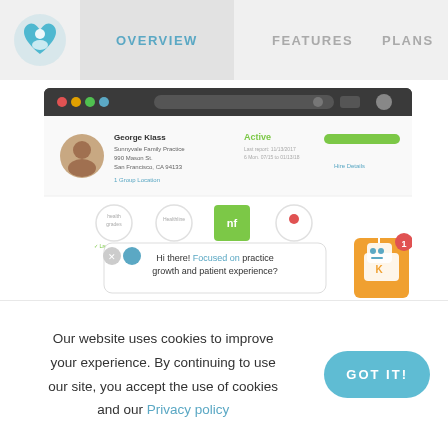OVERVIEW  FEATURES  PLANS
[Figure (screenshot): Screenshot of a medical practice management dashboard showing a doctor profile for George Klass at Sunnyvale Family Practice, with Active status, a green progress bar, and icons for various services. A chat bubble reads: 'Hi there! Focused on practice growth and patient experience?' with a robot mascot icon with a notification badge of 1.]
Online Directory Manager (ODM)
Our website uses cookies to improve your experience. By continuing to use our site, you accept the use of cookies and our Privacy policy
GOT IT!